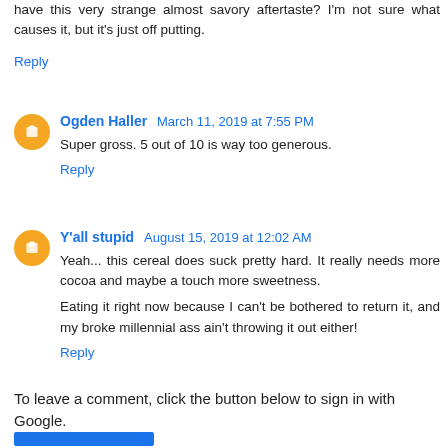have this very strange almost savory aftertaste? I'm not sure what causes it, but it's just off putting.
Reply
Ogden Haller  March 11, 2019 at 7:55 PM
Super gross. 5 out of 10 is way too generous.
Reply
Y'all stupid  August 15, 2019 at 12:02 AM
Yeah... this cereal does suck pretty hard. It really needs more cocoa and maybe a touch more sweetness. Eating it right now because I can't be bothered to return it, and my broke millennial ass ain't throwing it out either!
Reply
To leave a comment, click the button below to sign in with Google.